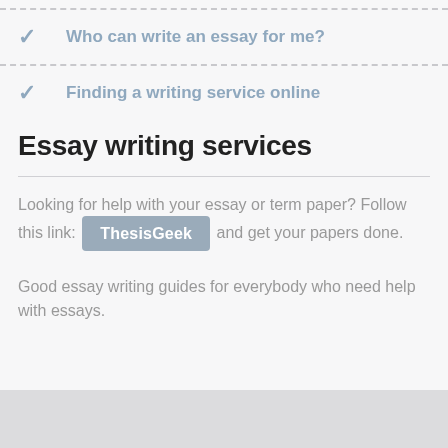Who can write an essay for me?
Finding a writing service online
Essay writing services
Looking for help with your essay or term paper? Follow this link: ThesisGeek and get your papers done.
Good essay writing guides for everybody who need help with essays.